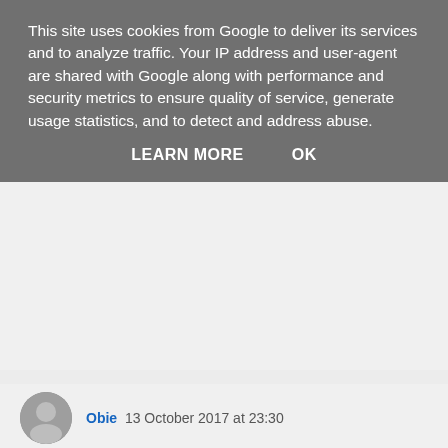This site uses cookies from Google to deliver its services and to analyze traffic. Your IP address and user-agent are shared with Google along with performance and security metrics to ensure quality of service, generate usage statistics, and to detect and address abuse.
LEARN MORE    OK
otherwise, I will fix it. I will give you a week Mills to not die! When Rob does another update, will contact Bobby, Wunk, Kadoffe, and a few others.
zxin probably beat his own level but, it may not have registered. I beat Wunk's Save Me level and Impossible City a couple of years ago. It showed up as a win but, disappeared when he fixed the save tile.
Reply
Obie 13 October 2017 at 23:30